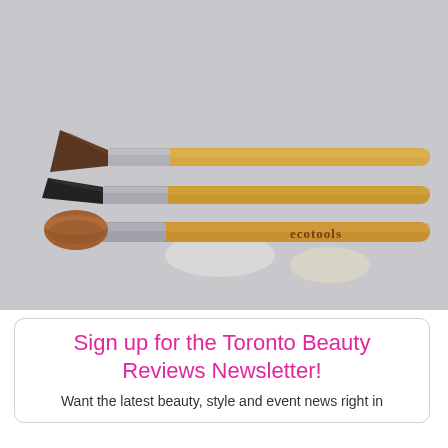[Figure (photo): Three EcoTools makeup brushes with bamboo handles and silver ferrules laid on a light grey surface. The brushes have different tip shapes: angled, flat angled, and rounded. The EcoTools brand name is visible on one handle.]
Sign up for the Toronto Beauty Reviews Newsletter!
Want the latest beauty, style and event news right in